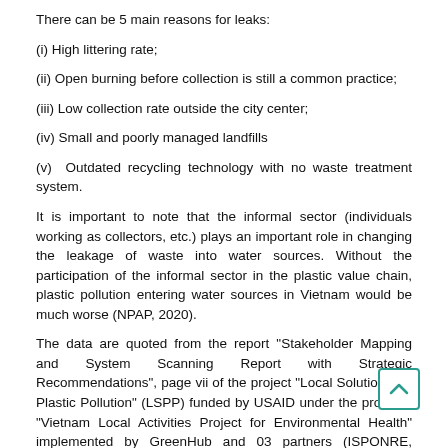There can be 5 main reasons for leaks:
(i) High littering rate;
(ii) Open burning before collection is still a common practice;
(iii) Low collection rate outside the city center;
(iv) Small and poorly managed landfills
(v) Outdated recycling technology with no waste treatment system.
It is important to note that the informal sector (individuals working as collectors, etc.) plays an important role in changing the leakage of waste into water sources. Without the participation of the informal sector in the plastic value chain, plastic pollution entering water sources in Vietnam would be much worse (NPAP, 2020).
The data are quoted from the report "Stakeholder Mapping and System Scanning Report with Strategic Recommendations", page vii of the project "Local Solutions for Plastic Pollution" (LSPP) funded by USAID under the program "Vietnam Local Activities Project for Environmental Health" implemented by GreenHub and 03 partners (ISPONRE, HUPH-VOHUN, GIMASYS).